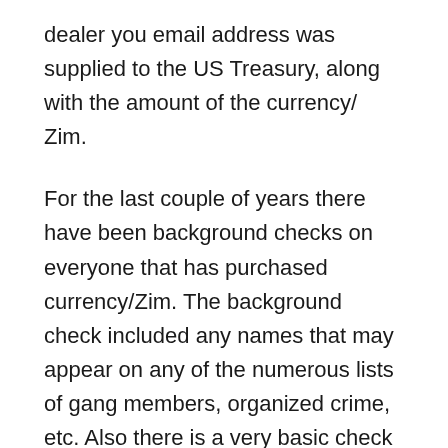dealer you email address was supplied to the US Treasury, along with the amount of the currency/ Zim.
For the last couple of years there have been background checks on everyone that has purchased currency/Zim. The background check included any names that may appear on any of the numerous lists of gang members, organized crime, etc. Also there is a very basic check that is done to see if there are any outstanding warrants or pending charges. Those checks have been done on 99 percent of all currency/Zim holders.